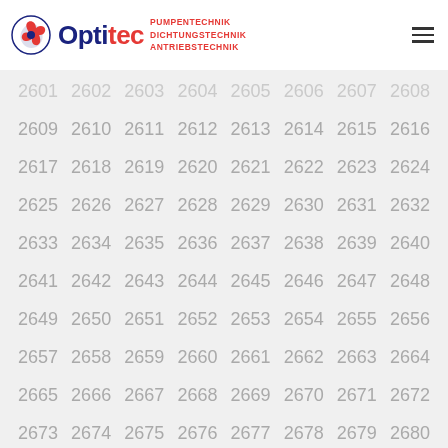Optitec – PUMPENTECHNIK DICHTUNGSTECHNIK ANTRIEBSTECHNIK
2601 2602 2603 2604 2605 2606 2607 2608
2609 2610 2611 2612 2613 2614 2615 2616
2617 2618 2619 2620 2621 2622 2623 2624
2625 2626 2627 2628 2629 2630 2631 2632
2633 2634 2635 2636 2637 2638 2639 2640
2641 2642 2643 2644 2645 2646 2647 2648
2649 2650 2651 2652 2653 2654 2655 2656
2657 2658 2659 2660 2661 2662 2663 2664
2665 2666 2667 2668 2669 2670 2671 2672
2673 2674 2675 2676 2677 2678 2679 2680
2681 2682 2683 2684 2685 2686 2687 2688
2689 2690 2691 2692 2693 2694 2695 2696